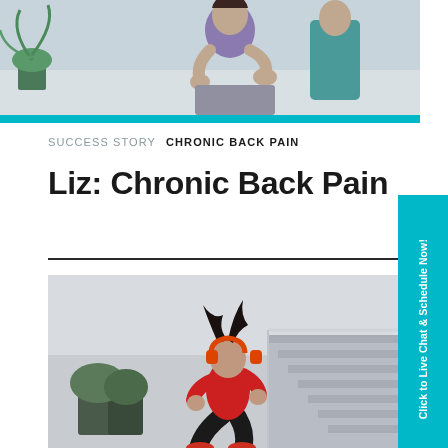[Figure (photo): Top photo showing a person (wearing purple top) holding their lower back in pain, with a plant visible in the background, in a medical or office setting.]
SUCCESS STORY  CHRONIC BACK PAIN
Liz: Chronic Back Pain
[Figure (photo): Photo of a woman wearing a red long-sleeve top and black pants with orange headphones, doing a squat exercise outdoors near stairs, hair flying. Active lifestyle image.]